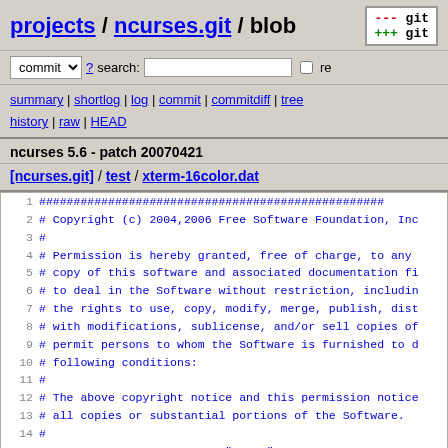projects / ncurses.git / blob
commit ? search: re
summary | shortlog | log | commit | commitdiff | tree history | raw | HEAD
ncurses 5.6 - patch 20070421
[ncurses.git] / test / xterm-16color.dat
Code lines 1-19 of xterm-16color.dat showing copyright notice